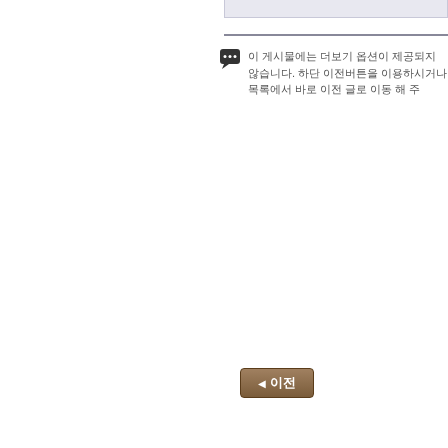[Figure (screenshot): Top bar UI element with light blue-gray background, partially visible at top right of page]
이 게시물에는 더보기 옵션이 제공되지 않습니다. 하단 이전버튼을 이용하시거나 목록에서 바로 이전 글로 이동 해 주
[Figure (other): Navigation button labeled 이전 (previous) with left arrow, brown/tan colored button]